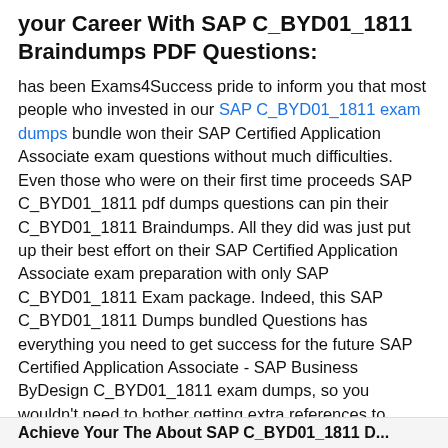your Career With SAP C_BYD01_1811 Braindumps PDF Questions:
has been Exams4Success pride to inform you that most people who invested in our SAP C_BYD01_1811 exam dumps bundle won their SAP Certified Application Associate exam questions without much difficulties. Even those who were on their first time proceeds SAP C_BYD01_1811 pdf dumps questions can pin their C_BYD01_1811 Braindumps. All they did was just put up their best effort on their SAP Certified Application Associate exam preparation with only SAP C_BYD01_1811 Exam package. Indeed, this SAP C_BYD01_1811 Dumps bundled Questions has everything you need to get success for the future SAP Certified Application Associate - SAP Business ByDesign C_BYD01_1811 exam dumps, so you wouldn't need to bother getting extra references to complete the process.
Achieve Your The About SAP C_BYD01_1811 D...